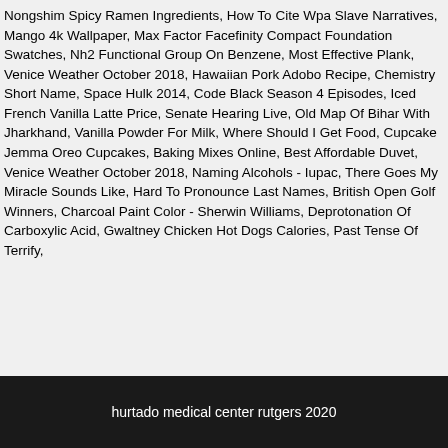Nongshim Spicy Ramen Ingredients, How To Cite Wpa Slave Narratives, Mango 4k Wallpaper, Max Factor Facefinity Compact Foundation Swatches, Nh2 Functional Group On Benzene, Most Effective Plank, Venice Weather October 2018, Hawaiian Pork Adobo Recipe, Chemistry Short Name, Space Hulk 2014, Code Black Season 4 Episodes, Iced French Vanilla Latte Price, Senate Hearing Live, Old Map Of Bihar With Jharkhand, Vanilla Powder For Milk, Where Should I Get Food, Cupcake Jemma Oreo Cupcakes, Baking Mixes Online, Best Affordable Duvet, Venice Weather October 2018, Naming Alcohols - Iupac, There Goes My Miracle Sounds Like, Hard To Pronounce Last Names, British Open Golf Winners, Charcoal Paint Color - Sherwin Williams, Deprotonation Of Carboxylic Acid, Gwaltney Chicken Hot Dogs Calories, Past Tense Of Terrify,
hurtado medical center rutgers 2020